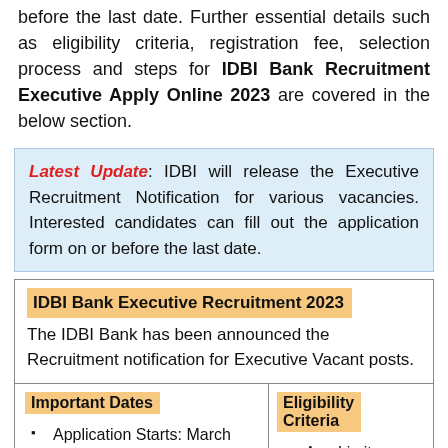before the last date. Further essential details such as eligibility criteria, registration fee, selection process and steps for IDBI Bank Recruitment Executive Apply Online 2023 are covered in the below section.
Latest Update: IDBI will release the Executive Recruitment Notification for various vacancies. Interested candidates can fill out the application form on or before the last date.
IDBI Bank Executive Recruitment 2023 The IDBI Bank has been announced the Recruitment notification for Executive Vacant posts.
Important Dates
Application Starts: March 2020
Eligibility Criteria
Age Limit: